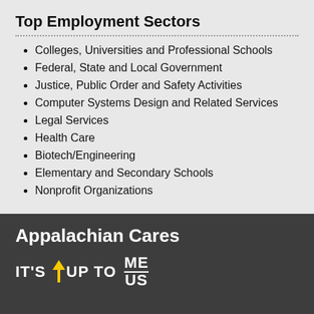Top Employment Sectors
Colleges, Universities and Professional Schools
Federal, State and Local Government
Justice, Public Order and Safety Activities
Computer Systems Design and Related Services
Legal Services
Health Care
Biotech/Engineering
Elementary and Secondary Schools
Nonprofit Organizations
Appalachian Cares
IT'S UP TO ME / US